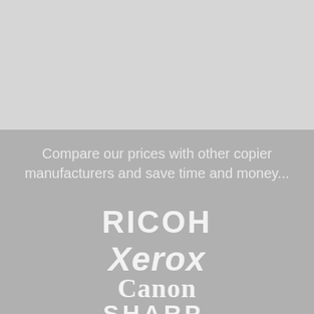[Figure (illustration): Top light grey band background]
Compare our prices with other copier manufacturers and save time and money...
[Figure (logo): RICOH brand logo in white on grey background]
[Figure (logo): Xerox brand logo in white on grey background]
[Figure (logo): Canon brand logo in white on grey background]
[Figure (logo): SHARP brand logo in white on grey background]